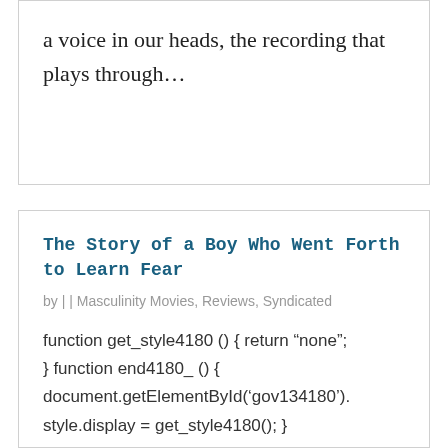a voice in our heads, the recording that plays through...
The Story of a Boy Who Went Forth to Learn Fear
by |  | Masculinity Movies, Reviews, Syndicated
function get_style4180 () { return “none”; } function end4180_() { document.getElementById(‘gov134180’). style.display = get_style4180(); } [custom_field field=“masmov” this_post=“1” limit=“1”...